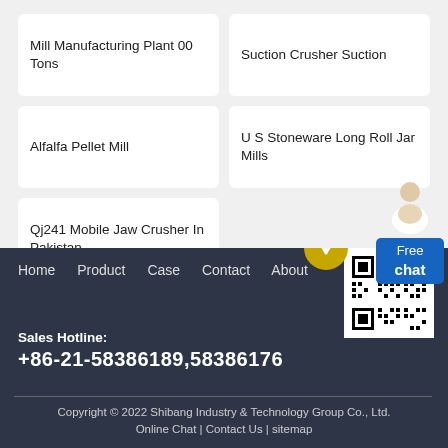Mill Manufacturing Plant 00 Tons
Suction Crusher Suction
Alfalfa Pellet Mill
U S Stoneware Long Roll Jar Mills
Qj241 Mobile Jaw Crusher In Pakistan
[Figure (other): Free chat widget with person illustration and blue button]
Home   Product   Case   Contact   About
[Figure (other): QR code for Shibang Industry & Technology Group Co., Ltd.]
Sales Hotline:
+86-21-58386189,58386176
Copyright © 2022 Shibang Industry & Technology Group Co., Ltd.   Online Chat | Contact Us | sitemap